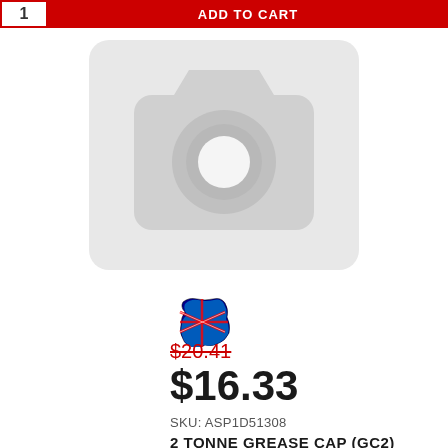[Figure (screenshot): Top partial e-commerce page showing quantity input box and red Add to Cart button]
[Figure (photo): Grey placeholder camera icon image for product with no photo available]
[Figure (illustration): Small Australian flag / map icon]
$20.41 (strikethrough original price)
$16.33
SKU: ASP1D51308
2 TONNE GREASE CAP (GC2)